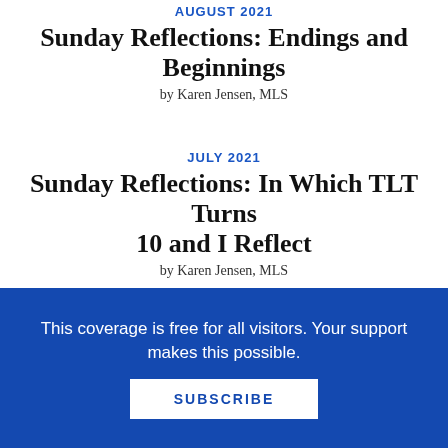AUGUST 2021
Sunday Reflections: Endings and Beginnings
by Karen Jensen, MLS
JULY 2021
Sunday Reflections: In Which TLT Turns 10 and I Reflect
by Karen Jensen, MLS
NOVEMBER 2020
Sunday Reflections: We Promised Them Democracy
This coverage is free for all visitors. Your support makes this possible.
SUBSCRIBE